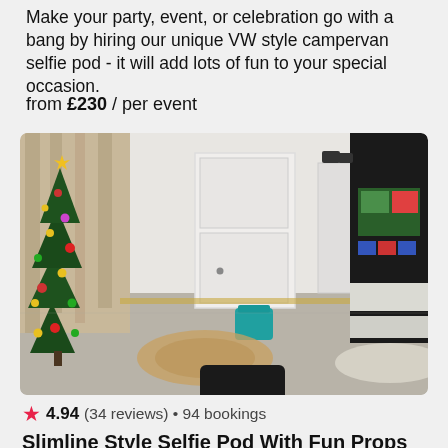Make your party, event, or celebration go with a bang by hiring our unique VW style campervan selfie pod - it will add lots of fun to your special occasion.
from £230 / per event
[Figure (photo): Interior room photo showing a decorated Christmas tree on the left with colorful ornaments, beige curtains, a white door in the center, and a black selfie pod kiosk with bright lights and a screen on the right. A teal bucket, woven rug, and dark ottoman are visible on the floor.]
4.94 (34 reviews) • 94 bookings
Slimline Style Selfie Pod With Fun Props
If you are looking for a device or product that the attention